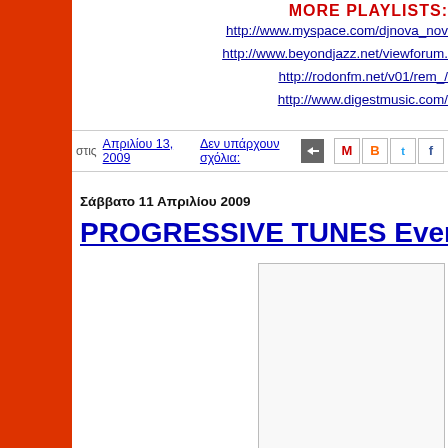MORE PLAYLISTS:
http://www.myspace.com/djnova_nov
http://www.beyondjazz.net/viewforum.
http://rodonfm.net/v01/rem_/
http://www.digestmusic.com/
στις Απριλίου 13, 2009    Δεν υπάρχουν σχόλια:
Σάββατο 11 Απριλίου 2009
PROGRESSIVE TUNES Every Saturo